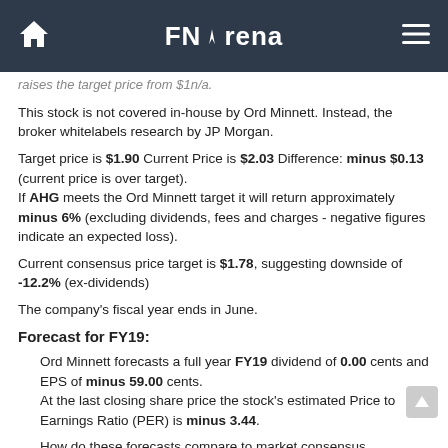FNArena
raises the target price from $1n/a.
This stock is not covered in-house by Ord Minnett. Instead, the broker whitelabels research by JP Morgan.
Target price is $1.90 Current Price is $2.03 Difference: minus $0.13 (current price is over target). If AHG meets the Ord Minnett target it will return approximately minus 6% (excluding dividends, fees and charges - negative figures indicate an expected loss).
Current consensus price target is $1.78, suggesting downside of -12.2% (ex-dividends)
The company's fiscal year ends in June.
Forecast for FY19:
Ord Minnett forecasts a full year FY19 dividend of 0.00 cents and EPS of minus 59.00 cents. At the last closing share price the stock's estimated Price to Earnings Ratio (PER) is minus 3.44.
How do these forecasts compare to market consensus projections?
Current consensus EPS estimate is 0.8, implying annual growth of